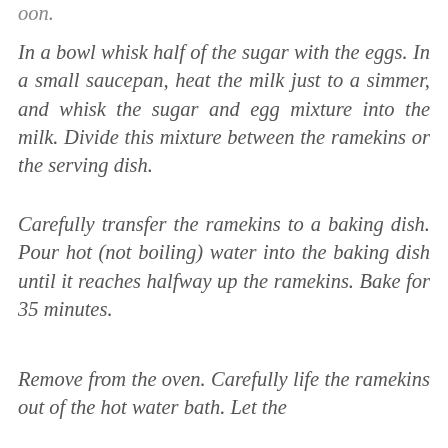oon.
In a bowl whisk half of the sugar with the eggs. In a small saucepan, heat the milk just to a simmer, and whisk the sugar and egg mixture into the milk. Divide this mixture between the ramekins or the serving dish.
Carefully transfer the ramekins to a baking dish. Pour hot (not boiling) water into the baking dish until it reaches halfway up the ramekins. Bake for 35 minutes.
Remove from the oven. Carefully life the ramekins out of the hot water bath. Let the